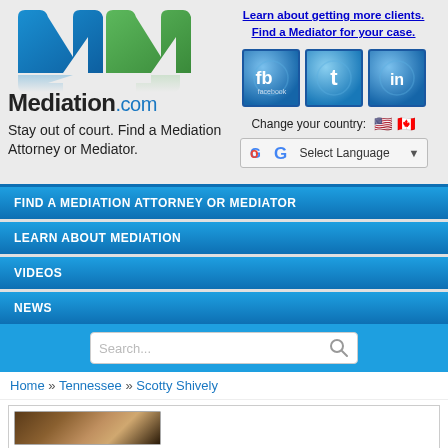[Figure (logo): Mediation.com logo with blue and green M letter mark and reflection]
Learn about getting more clients.
Find a Mediator for your case.
[Figure (other): Social media icons: Facebook, Twitter, LinkedIn]
Change your country: 🇺🇸 🇨🇦
[Figure (other): Google Translate widget with Select Language dropdown]
Stay out of court. Find a Mediation Attorney or Mediator.
FIND A MEDIATION ATTORNEY OR MEDIATOR
LEARN ABOUT MEDIATION
VIDEOS
NEWS
Search...
Home » Tennessee » Scotty Shively